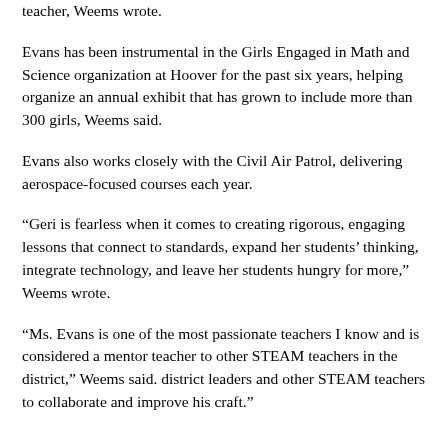teacher, Weems wrote.
Evans has been instrumental in the Girls Engaged in Math and Science organization at Hoover for the past six years, helping organize an annual exhibit that has grown to include more than 300 girls, Weems said.
Evans also works closely with the Civil Air Patrol, delivering aerospace-focused courses each year.
“Geri is fearless when it comes to creating rigorous, engaging lessons that connect to standards, expand her students’ thinking, integrate technology, and leave her students hungry for more,” Weems wrote.
“Ms. Evans is one of the most passionate teachers I know and is considered a mentor teacher to other STEAM teachers in the district,” Weems said. district leaders and other STEAM teachers to collaborate and improve his craft.”